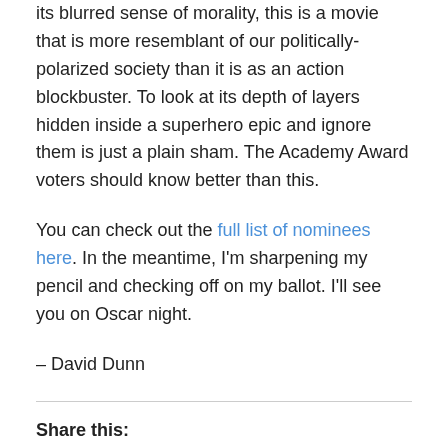its blurred sense of morality, this is a movie that is more resemblant of our politically-polarized society than it is as an action blockbuster. To look at its depth of layers hidden inside a superhero epic and ignore them is just a plain sham. The Academy Award voters should know better than this.
You can check out the full list of nominees here. In the meantime, I'm sharpening my pencil and checking off on my ballot. I'll see you on Oscar night.
– David Dunn
Share this:
Twitter  Facebook